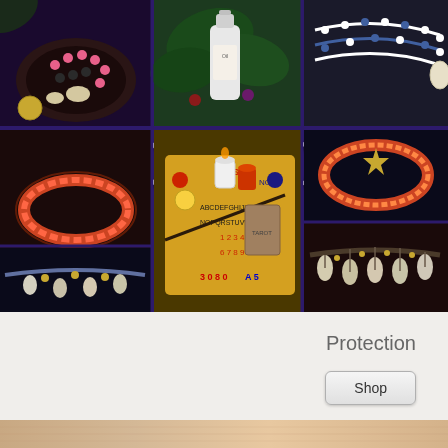[Figure (photo): Composite photo grid on dark purple background showing various spiritual/protection items: beaded jewelry, bracelets, an oil bottle, a spirit board with candles and tarot cards, shell accessories. Large white 'PROTECT' text overlaid in center.]
Protection
Shop
[Figure (photo): Partial image of earth tones/fabric visible at bottom strip]